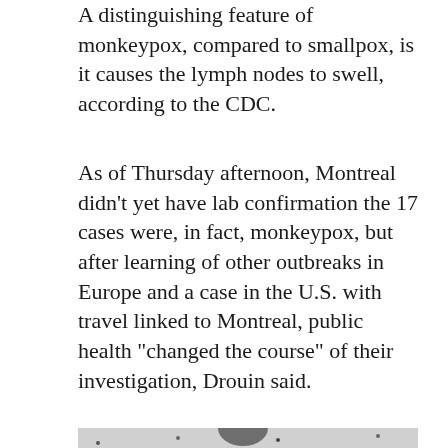A distinguishing feature of monkeypox, compared to smallpox, is it causes the lymph nodes to swell, according to the CDC.
As of Thursday afternoon, Montreal didn't yet have lab confirmation the 17 cases were, in fact, monkeypox, but after learning of other outbreaks in Europe and a case in the U.S. with travel linked to Montreal, public health "changed the course" of their investigation, Drouin said.
[Figure (photo): Black and white electron microscope image of monkeypox virus particles, showing oval and spherical viral particles of varying sizes against a granular background.]